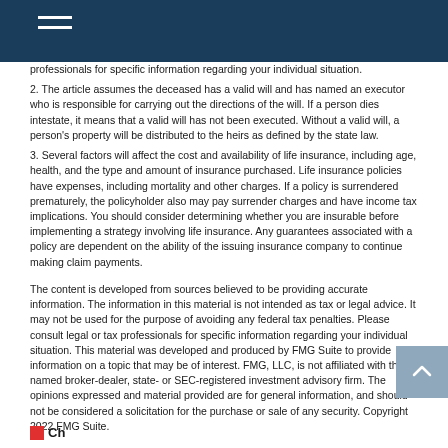professionals for specific information regarding your individual situation.
2. The article assumes the deceased has a valid will and has named an executor who is responsible for carrying out the directions of the will. If a person dies intestate, it means that a valid will has not been executed. Without a valid will, a person's property will be distributed to the heirs as defined by the state law.
3. Several factors will affect the cost and availability of life insurance, including age, health, and the type and amount of insurance purchased. Life insurance policies have expenses, including mortality and other charges. If a policy is surrendered prematurely, the policyholder also may pay surrender charges and have income tax implications. You should consider determining whether you are insurable before implementing a strategy involving life insurance. Any guarantees associated with a policy are dependent on the ability of the issuing insurance company to continue making claim payments.
The content is developed from sources believed to be providing accurate information. The information in this material is not intended as tax or legal advice. It may not be used for the purpose of avoiding any federal tax penalties. Please consult legal or tax professionals for specific information regarding your individual situation. This material was developed and produced by FMG Suite to provide information on a topic that may be of interest. FMG, LLC, is not affiliated with the named broker-dealer, state- or SEC-registered investment advisory firm. The opinions expressed and material provided are for general information, and should not be considered a solicitation for the purchase or sale of any security. Copyright 2022 FMG Suite.